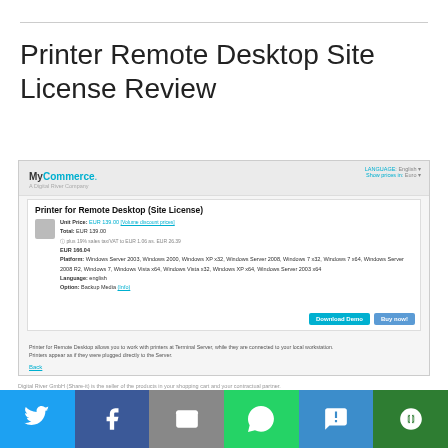Printer Remote Desktop Site License Review
[Figure (screenshot): MyCommerce product page for Printer for Remote Desktop (Site License) showing unit price EUR 139.00 with volume discount prices, total EUR 139.00, plus 19% sales tax/VAT = EUR 1.06 etc., platform list including Windows Server 2003, Windows 2000, Windows XP x32, Windows Server 2008, Windows 7 x32, Windows 7 x64, Windows Server 2008 R2, Windows 7, Windows Vista x64, Windows Vista x32, Windows XP x64, Windows Server 2003 x64. Language: english. Option: Backup Media (Info). Download Demo and Buy now buttons. Description: Printer for Remote Desktop allows you to work with printers at Terminal Server, while they are connected to your local workstation. Printers appear as if they were plugged directly to the Server. Back link. Digital River GmbH footer with Legal Notice, Privacy Statement, Cookies, Terms and Conditions links.]
Social sharing bar with Twitter, Facebook, Email, WhatsApp, SMS, and other sharing icons